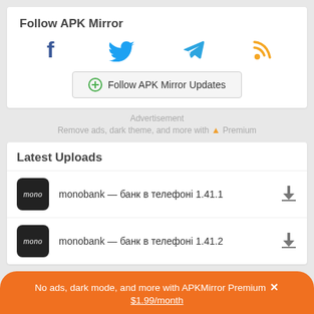Follow APK Mirror
[Figure (infographic): Social media icons: Facebook (blue), Twitter (blue bird), Telegram (blue paper plane), RSS (orange)]
[Figure (infographic): Follow APK Mirror Updates button with green circle icon]
Advertisement
Remove ads, dark theme, and more with ▲ Premium
Latest Uploads
monobank — банк в телефоні 1.41.1
monobank — банк в телефоні 1.41.2
No ads, dark mode, and more with APKMirror Premium × $1.99/month